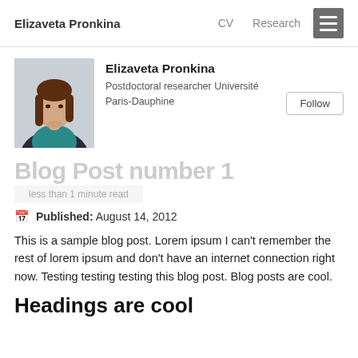Elizaveta Pronkina   CV   Research
[Figure (photo): Portrait photo of Elizaveta Pronkina, a woman with long brown hair wearing a teal top and dark jacket, against a light grey background.]
Elizaveta Pronkina
Postdoctoral researcher Université Paris-Dauphine
Blog Post number 1
less than 1 minute read
Published: August 14, 2012
This is a sample blog post. Lorem ipsum I can't remember the rest of lorem ipsum and don't have an internet connection right now. Testing testing testing this blog post. Blog posts are cool.
Headings are cool